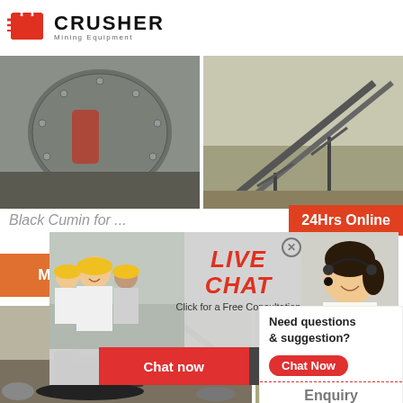[Figure (logo): Crusher Mining Equipment logo with red shopping bag icon and bold CRUSHER text]
[Figure (photo): Industrial ball mill / grinding machine at a mining facility]
[Figure (photo): Conveyor belt structure at a mining or quarry site]
Black Cumin for ...
24Hrs Online
More
[Figure (infographic): Live chat popup overlay with workers in hard hats, LIVE CHAT heading, Click for a Free Consultation, Chat now and Chat later buttons, and customer support woman with headset on right]
[Figure (photo): Excavator working at a quarry or construction site with rocky terrain]
[Figure (photo): Yellow bulldozer / loader at a mining site with trees in background]
Need questions & suggestion?
Chat Now
Enquiry
mumumugoods@gmail.com